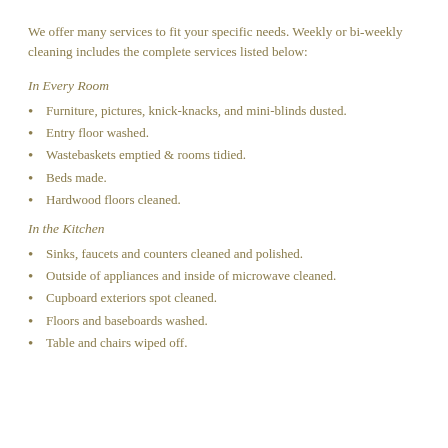We offer many services to fit your specific needs. Weekly or bi-weekly cleaning includes the complete services listed below:
In Every Room
Furniture, pictures, knick-knacks, and mini-blinds dusted.
Entry floor washed.
Wastebaskets emptied & rooms tidied.
Beds made.
Hardwood floors cleaned.
In the Kitchen
Sinks, faucets and counters cleaned and polished.
Outside of appliances and inside of microwave cleaned.
Cupboard exteriors spot cleaned.
Floors and baseboards washed.
Table and chairs wiped off.